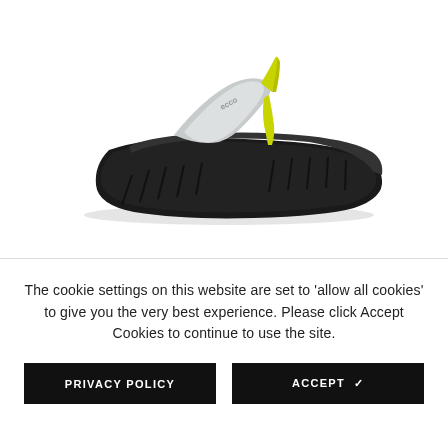[Figure (photo): An ECCO flip-flop sandal with a light gray/white strap and yellow accent thong post, on a black textured sole, shown on a white background.]
The cookie settings on this website are set to 'allow all cookies' to give you the very best experience. Please click Accept Cookies to continue to use the site.
PRIVACY POLICY
ACCEPT ✓